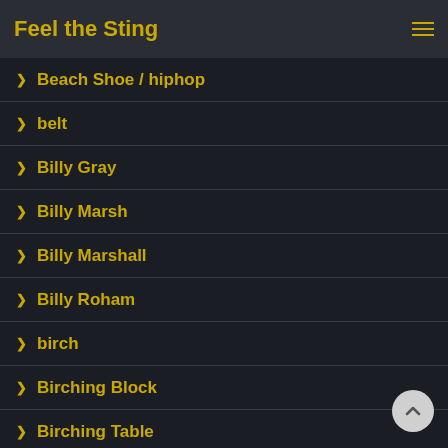Feel the Sting
Beach Shoe / hiphop
belt
Billy Gray
Billy Marsh
Billy Marshall
Billy Roham
birch
Birching Block
Birching Table
Bob Stone
Bobby James
Bodge and Sharper